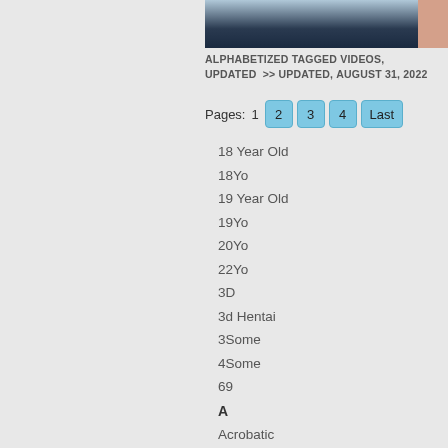[Figure (photo): Partial image showing blue/dark clothing and skin, cropped at top of page]
ALPHABETIZED TAGGED VIDEOS, UPDATED >> UPDATED, AUGUST 31, 2022
Pages: 1 2 3 4 Last
18 Year Old
18Yo
19 Year Old
19Yo
20Yo
22Yo
3D
3d Hentai
3Some
4Some
69
A
Acrobatic
Adorable
Aerobics
African
Afro